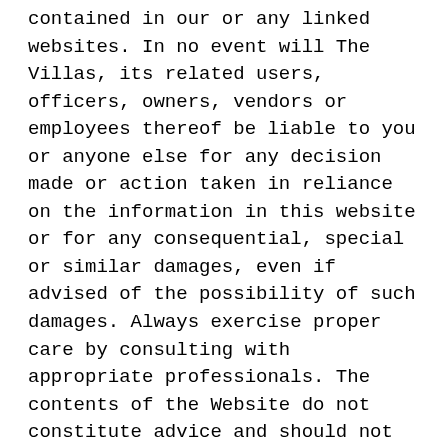contained in our or any linked websites. In no event will The Villas, its related users, officers, owners, vendors or employees thereof be liable to you or anyone else for any decision made or action taken in reliance on the information in this website or for any consequential, special or similar damages, even if advised of the possibility of such damages. Always exercise proper care by consulting with appropriate professionals. The contents of the Website do not constitute advice and should not be relied upon in making or refraining from making, any decision.
The content of the pages of this website is for your general information and use only. It is subject to change without notice.
Neither we nor any third parties provide any warranty or guarantee as to the accuracy, timeliness, performance, completeness or